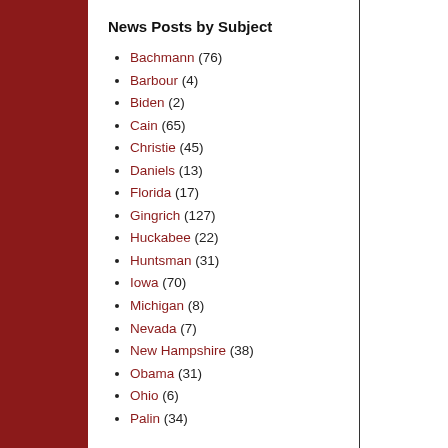News Posts by Subject
Bachmann (76)
Barbour (4)
Biden (2)
Cain (65)
Christie (45)
Daniels (13)
Florida (17)
Gingrich (127)
Huckabee (22)
Huntsman (31)
Iowa (70)
Michigan (8)
Nevada (7)
New Hampshire (38)
Obama (31)
Ohio (6)
Palin (34)